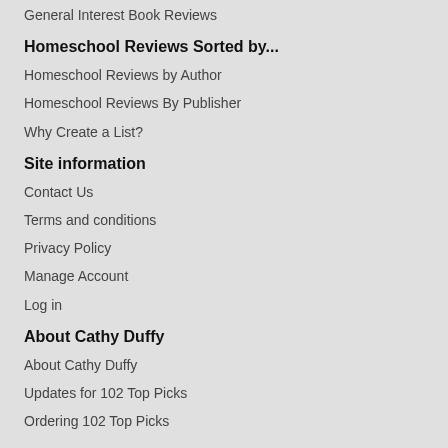General Interest Book Reviews
Homeschool Reviews Sorted by...
Homeschool Reviews by Author
Homeschool Reviews By Publisher
Why Create a List?
Site information
Contact Us
Terms and conditions
Privacy Policy
Manage Account
Log in
About Cathy Duffy
About Cathy Duffy
Updates for 102 Top Picks
Ordering 102 Top Picks